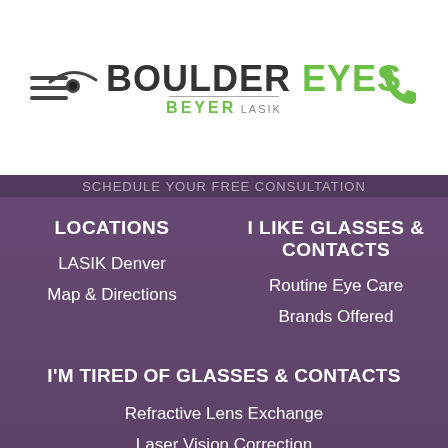[Figure (logo): Boulder Eyes Beyer LASIK logo with eye graphic]
LOCATIONS
I LIKE GLASSES & CONTACTS
LASIK Denver
Map & Directions
Routine Eye Care
Brands Offered
I'M TIRED OF GLASSES & CONTACTS
Refractive Lens Exchange
Laser Vision Correction
LASIK Surgery
Advanced Surface Ablation (ASA)
PRK vs. LASIK
Refractive Procedures
Blog